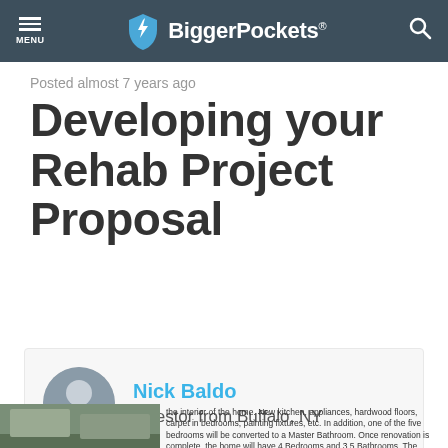MENU | BiggerPockets®
Posted almost 7 years ago
Developing your Rehab Project Proposal
Nick Baldo
Investor from Buffalo, NY
[Figure (photo): Partial view of a house exterior and article text snippet about renovation details.]